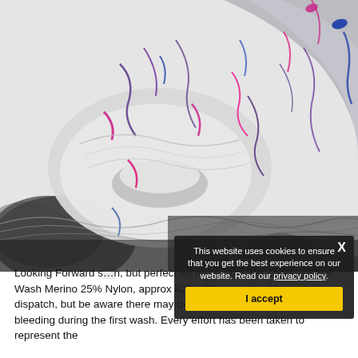[Figure (photo): Skeins of hand-dyed yarn in grey, white, purple, pink, and blue speckled/variegated pattern arranged on a white background.]
This website uses cookies to ensure that you get the best experience on our website. Read our privacy policy.
I accept
Looking Forward s... n, but perfect for more than just socks. 75% S Wash Merino 25% Nylon, approx 425m Please note: All ya... before dispatch, but be aware there may be a small amount of colour bleeding during the first wash. Every effort has been taken to represent the